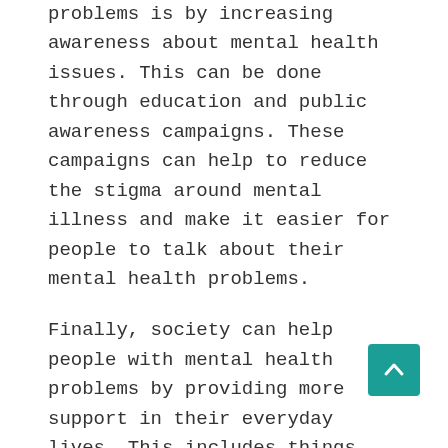problems is by increasing awareness about mental health issues. This can be done through education and public awareness campaigns. These campaigns can help to reduce the stigma around mental illness and make it easier for people to talk about their mental health problems.
Finally, society can help people with mental health problems by providing more support in their everyday lives. This includes things like flexible work schedules, housing assistance, and access to social services. By providing this support, we can make it easier for people with mental health problems to live happy and healthy lives. Society has a role to play in supporting those with mental health problems, and we should all do our part to help.
If you or someone you know is struggling with mental health problems, there are resources available to help. It's a good